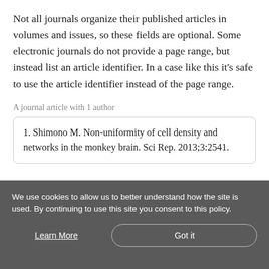Not all journals organize their published articles in volumes and issues, so these fields are optional. Some electronic journals do not provide a page range, but instead list an article identifier. In a case like this it's safe to use the article identifier instead of the page range.
A journal article with 1 author
1. Shimono M. Non-uniformity of cell density and networks in the monkey brain. Sci Rep. 2013;3:2541.
We use cookies to allow us to better understand how the site is used. By continuing to use this site you consent to this policy.